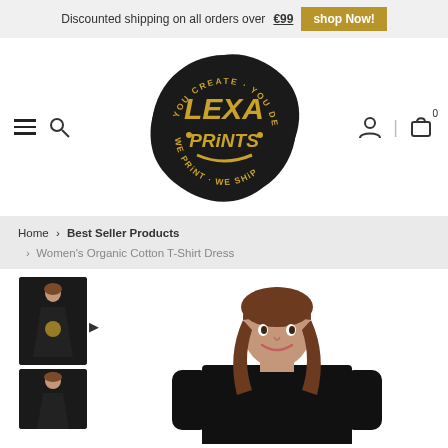Discounted shipping on all orders over €99  shop Now!
[Figure (logo): Lexa Prints logo — black wax seal shape with gold text: YOU CREATE · YOU DESIGN / LEXA / PRiNTS / WE PRiNT · WE SHiP]
Home > Best Seller Products > Women's Organic Cotton T-Shirt Dress
[Figure (photo): Small thumbnail of a woman wearing a black t-shirt dress with logo print]
[Figure (photo): Small thumbnail (second) of a woman in black t-shirt dress]
[Figure (photo): Main product photo of a smiling woman with brown hair wearing a black t-shirt dress]